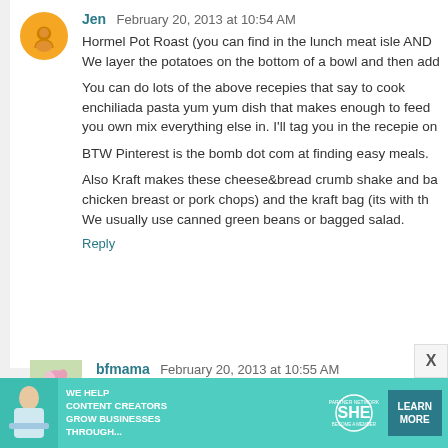Jen  February 20, 2013 at 10:54 AM
Hormel Pot Roast (you can find in the lunch meat isle AND We layer the potatoes on the bottom of a bowl and then add

You can do lots of the above recepies that say to cook enchiliada pasta yum yum dish that makes enough to feed you own mix everything else in. I'll tag you in the recepie on

BTW Pinterest is the bomb dot com at finding easy meals.

Also Kraft makes these cheese&bread crumb shake and ba chicken breast or pork chops) and the kraft bag (its with th We usually use canned green beans or bagged salad.
Reply
bfmama  February 20, 2013 at 10:55 AM
Well, I'm really sorry, but I have to do this. It's just too releva the artist's FB.Some of his stuff is pretty risque,if you check
Reply
[Figure (infographic): SHE Partner Network advertisement banner with teal background, person photo, text 'We Help Content Creators Grow Businesses Through...', SHE logo, and Learn More button]